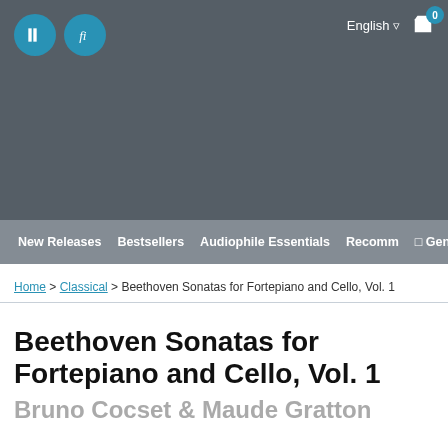English  0
New Releases   Bestsellers   Audiophile Essentials   Recomm   Genres
Home > Classical > Beethoven Sonatas for Fortepiano and Cello, Vol. 1
Beethoven Sonatas for Fortepiano and Cello, Vol. 1
Bruno Cocset & Maude Gratton